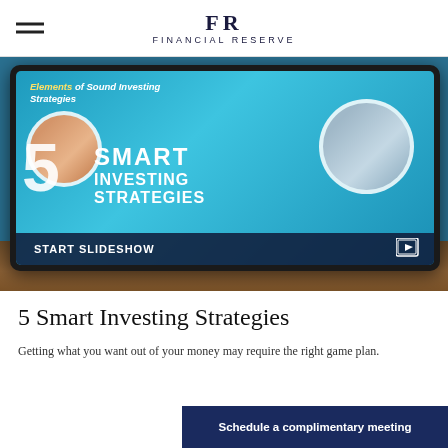FR FINANCIAL RESERVE
[Figure (screenshot): Tablet showing a slideshow titled '5 Smart Investing Strategies' with subtitle 'Elements of Sound Investing Strategies'. Shows two circular photos of people and a 'START SLIDESHOW' bar at the bottom.]
5 Smart Investing Strategies
Getting what you want out of your money may require the right game plan.
Schedule a complimentary meeting